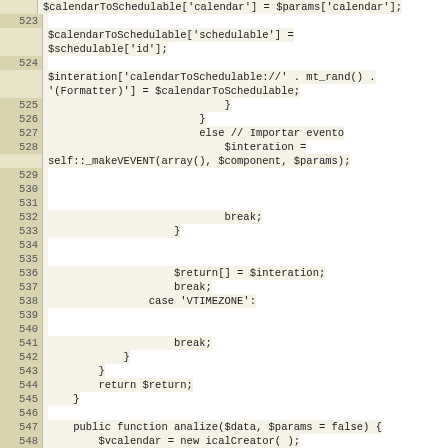[Figure (screenshot): Source code listing showing PHP code with line numbers 522-549. Code includes calendar scheduling operations, switch/case statements, break statements, and a public function definition for 'analize'.]